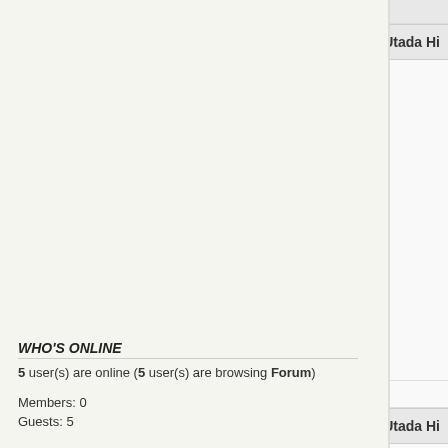WHO'S ONLINE
5 user(s) are online (5 user(s) are browsing Forum)
Members: 0
Guests: 5
more...
UTADANET.COM
Become A Member!
Suggest Us to a Friend
0:04
SwallowTail
Re: Utada Hi
Moderator
They're good english words
Joined: 2008/6/13
A/S/L ∞ / M / Indonesia
Posts: 3286
Thanks for sh
[Figure (photo): Photo of a woman in dark clothing against a grey background]
Posted on: 2012/4/27 19:50
Elijah
Re: Utada Hi
Hikki Fanatic
Click Here!! Sa
Joined: 2012/8/5
A/S/L 22 / Male / Marseillon